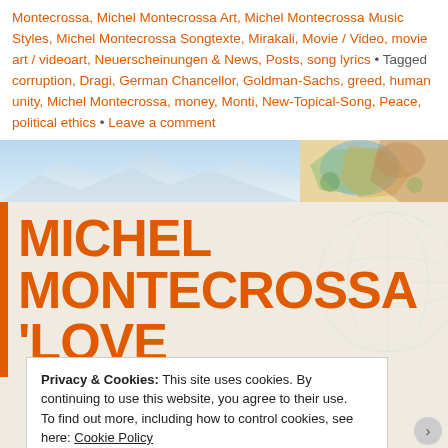Montecrossa, Michel Montecrossa Art, Michel Montecrossa Music Styles, Michel Montecrossa Songtexte, Mirakali, Movie / Video, movie art / videoart, Neuerscheinungen & News, Posts, song lyrics • Tagged corruption, Dragi, German Chancellor, Goldman-Sachs, greed, human unity, Michel Montecrossa, money, Monti, New-Topical-Song, Peace, political ethics • Leave a comment
[Figure (photo): Decorative banner image with blue sky/landscape on the left and a colorful world map painting on the right]
MICHEL MONTECROSSA 'LOVE
Privacy & Cookies: This site uses cookies. By continuing to use this website, you agree to their use. To find out more, including how to control cookies, see here: Cookie Policy